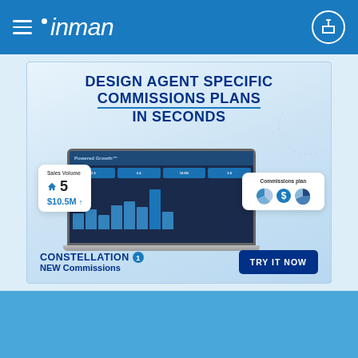inman
[Figure (screenshot): Advertisement for Constellation1 NEW Commissions product. Headline: DESIGN AGENT SPECIFIC COMMISSIONS PLANS IN SECONDS. Shows laptop screenshot of commission dashboard with sales volume card showing 5 / $10.5M and a Commissions plan card with pie chart graphic. Bottom includes CONSTELLATION1 NEW Commissions branding and TRY IT NOW button.]
Real estate perspective that gives you the inside track
SUBSCRIBE NOW